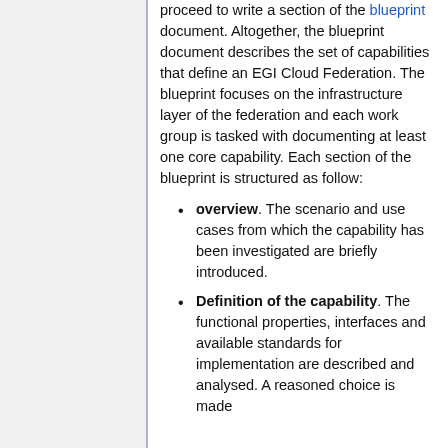proceed to write a section of the blueprint document. Altogether, the blueprint document describes the set of capabilities that define an EGI Cloud Federation. The blueprint focuses on the infrastructure layer of the federation and each work group is tasked with documenting at least one core capability. Each section of the blueprint is structured as follow:
overview. The scenario and use cases from which the capability has been investigated are briefly introduced.
Definition of the capability. The functional properties, interfaces and available standards for implementation are described and analysed. A reasoned choice is made about...